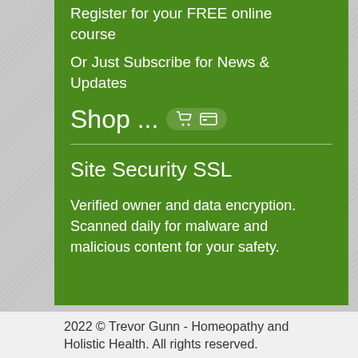Register for your FREE online course
Or Just Subscribe for News & Updates
Shop ...
Site Security SSL
Verified owner and data encryption. Scanned daily for malware and malicious content for your safety.
2022 © Trevor Gunn - Homeopathy and Holistic Health. All rights reserved.